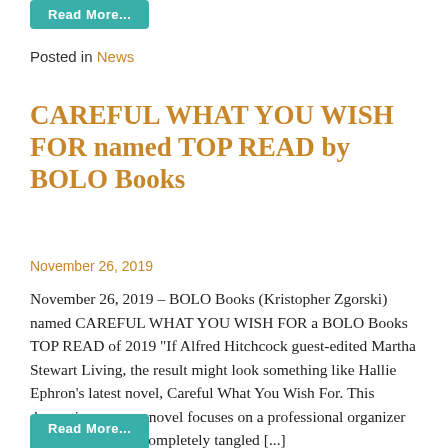[Figure (other): Teal/green 'Read More...' button at top of page]
Posted in News
CAREFUL WHAT YOU WISH FOR named TOP READ by BOLO Books
November 26, 2019
November 26, 2019 – BOLO Books (Kristopher Zgorski) named CAREFUL WHAT YOU WISH FOR a BOLO Books TOP READ of 2019 "If Alfred Hitchcock guest-edited Martha Stewart Living, the result might look something like Hallie Ephron's latest novel, Careful What You Wish For. This domestic suspense novel focuses on a professional organizer who finds herself completely tangled [...]
[Figure (other): Teal/green button partially visible at bottom of page]